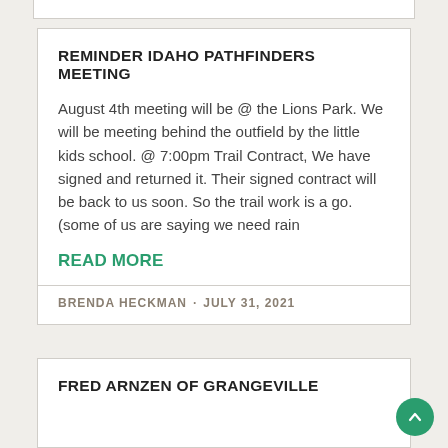REMINDER IDAHO PATHFINDERS MEETING
August 4th meeting will be @ the Lions Park. We will be meeting behind the outfield by the little kids school. @ 7:00pm Trail Contract, We have signed and returned it. Their signed contract will be back to us soon. So the trail work is a go. (some of us are saying we need rain
READ MORE
BRENDA HECKMAN · JULY 31, 2021
FRED ARNZEN OF GRANGEVILLE